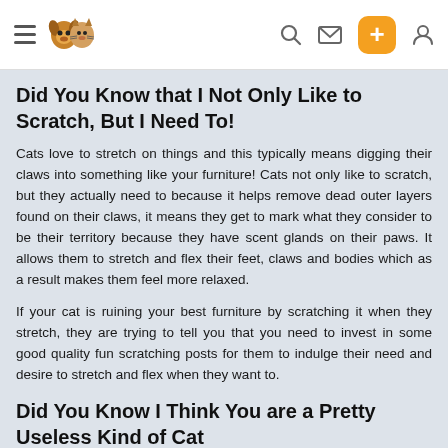[Navigation bar with hamburger menu, pet logo, search icon, mail icon, plus button, and user icon]
Did You Know that I Not Only Like to Scratch, But I Need To!
Cats love to stretch on things and this typically means digging their claws into something like your furniture! Cats not only like to scratch, but they actually need to because it helps remove dead outer layers found on their claws, it means they get to mark what they consider to be their territory because they have scent glands on their paws. It allows them to stretch and flex their feet, claws and bodies which as a result makes them feel more relaxed.
If your cat is ruining your best furniture by scratching it when they stretch, they are trying to tell you that you need to invest in some good quality fun scratching posts for them to indulge their need and desire to stretch and flex when they want to.
Did You Know I Think You are a Pretty Useless Kind of Cat
In a book by anthrozoologist, Dr J Bradshaw called Cat Sense,